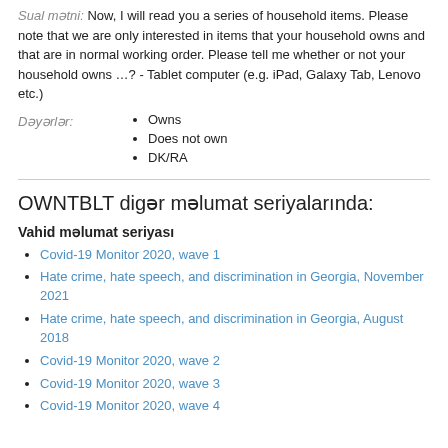Sual mətni: Now, I will read you a series of household items. Please note that we are only interested in items that your household owns and that are in normal working order. Please tell me whether or not your household owns …? - Tablet computer (e.g. iPad, Galaxy Tab, Lenovo etc.)
Owns
Does not own
DK/RA
OWNTBLT digər məlumat seriyalarında:
Vahid məlumat seriyası
Covid-19 Monitor 2020, wave 1
Hate crime, hate speech, and discrimination in Georgia, November 2021
Hate crime, hate speech, and discrimination in Georgia, August 2018
Covid-19 Monitor 2020, wave 2
Covid-19 Monitor 2020, wave 3
Covid-19 Monitor 2020, wave 4